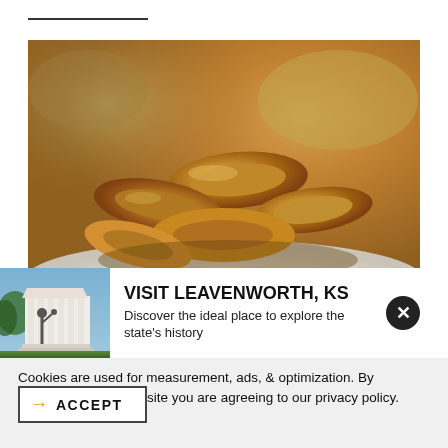[Figure (photo): Close-up photo of golden fried onion rings or fried food on a white plate, with blurred background]
[Figure (photo): Small thumbnail photo of a neoclassical building with a statue in front, representing Leavenworth, KS]
VISIT LEAVENWORTH, KS
Discover the ideal place to explore the state's history
Cookies are used for measurement, ads, & optimization. By continuing to use our site you are agreeing to our privacy policy.
ACCEPT